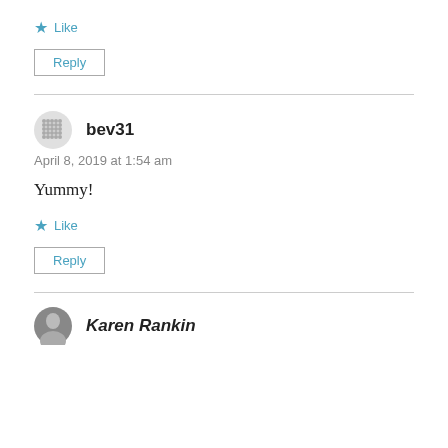★ Like
Reply
bev31
April 8, 2019 at 1:54 am
Yummy!
★ Like
Reply
Karen Rankin